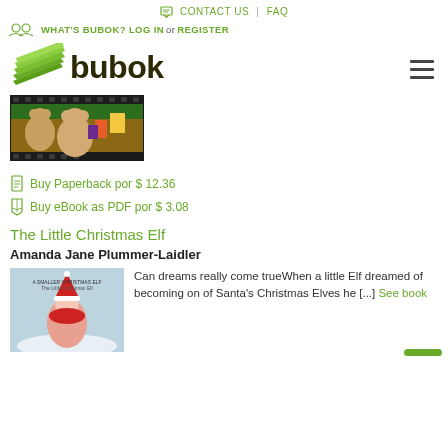CONTACT US | FAQ
WHAT'S BUBOK? LOG IN or REGISTER
[Figure (logo): Bubok logo with green stacked pages icon and dark brown 'bubok' wordmark]
[Figure (photo): Book cover image showing teddy bears with Christmas decorations on a dark checkered border]
Buy Paperback por $ 12.36
Buy eBook as PDF por $ 3.08
The Little Christmas Elf
Amanda Jane Plummer-Laidler
[Figure (photo): Book cover for 'The Little Christmas Elf' showing a cartoon elf character on a snowy background]
Can dreams really come trueWhen a little Elf dreamed of becoming on of Santa's Christmas Elves he [...] See book